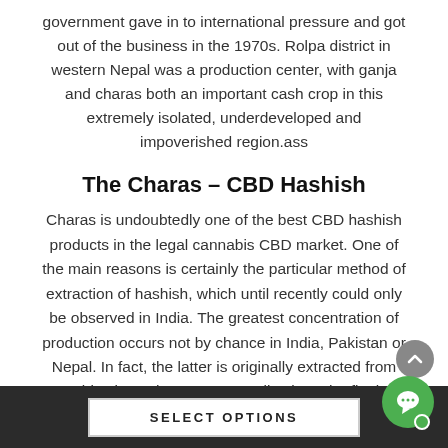government gave in to international pressure and got out of the business in the 1970s. Rolpa district in western Nepal was a production center, with ganja and charas both an important cash crop in this extremely isolated, underdeveloped and impoverished region.ass
The Charas – CBD Hashish
Charas is undoubtedly one of the best CBD hashish products in the legal cannabis CBD market. One of the main reasons is certainly the particular method of extraction of hashish, which until recently could only be observed in India. The greatest concentration of production occurs not by chance in India, Pakistan or Nepal. In fact, the latter is originally extracted from cannabis plants that grow naturally along the flanks of the Himalayas.
SELECT OPTIONS